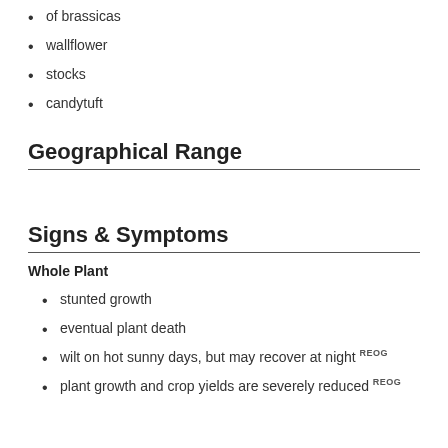of brassicas
wallflower
stocks
candytuft
Geographical Range
Signs & Symptoms
Whole Plant
stunted growth
eventual plant death
wilt on hot sunny days, but may recover at night REOG
plant growth and crop yields are severely reduced REOG